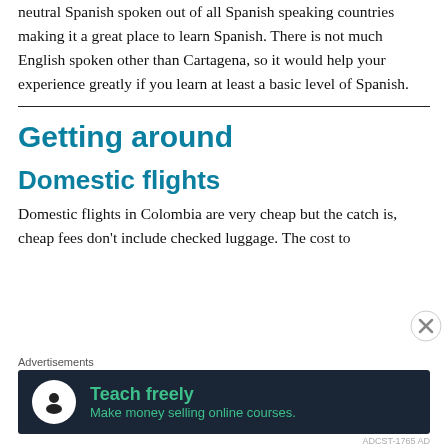neutral Spanish spoken out of all Spanish speaking countries making it a great place to learn Spanish. There is not much English spoken other than Cartagena, so it would help your experience greatly if you learn at least a basic level of Spanish.
Getting around
Domestic flights
Domestic flights in Colombia are very cheap but the catch is, cheap fees don't include checked luggage. The cost to
[Figure (infographic): Advertisement banner for 'Teach freely - Make money selling online courses.' with dark navy background, green text, and a person icon in a white circle.]